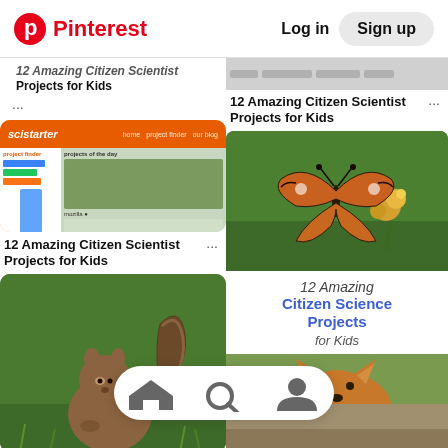Pinterest   Log in   Sign up
12 Amazing Citizen Scientist Projects for Kids
[Figure (screenshot): SciStarter website screenshot showing project finder and projects of the day]
12 Amazing Citizen Scientist Projects for Kids
[Figure (photo): A squirrel sitting on grass looking at camera]
Project Squirrel
[Figure (screenshot): Webpage header with navigation tabs, partially visible]
12 Amazing Citizen Scientist Projects for Kids
[Figure (photo): Orange and black butterfly on yellow flowers with green background]
[Figure (illustration): Text graphic: 12 Amazing Citizen Science Projects for Kids]
[Figure (photo): Partial view of fox face peeking from bottom]
[Figure (photo): Partial bottom strip images]
[Figure (infographic): Mobile bottom navigation bar with home, search, and profile icons]